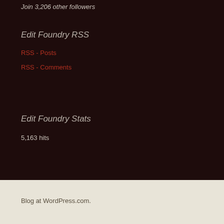Join 3,206 other followers
Edit Foundry RSS
RSS - Posts
RSS - Comments
Edit Foundry Stats
5,163 hits
Blog at WordPress.com.